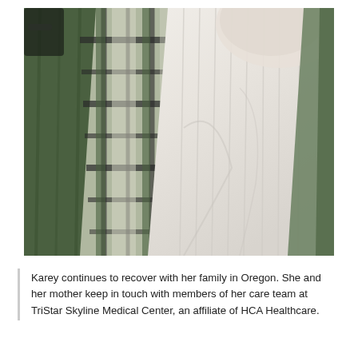[Figure (photo): A person wearing a cream/white turtleneck sweater and a large green, white, and dark plaid/checked cardigan or blanket scarf. The photo is taken from a close-up angle showing the torso and lower face area. The setting appears to be inside a vehicle.]
Karey continues to recover with her family in Oregon. She and her mother keep in touch with members of her care team at TriStar Skyline Medical Center, an affiliate of HCA Healthcare.